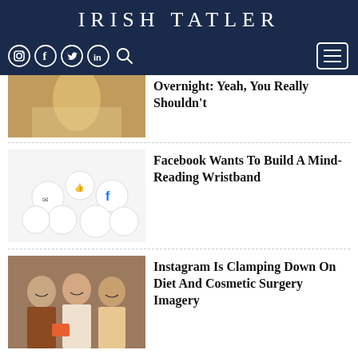IRISH TATLER
[Figure (screenshot): Navigation bar with social media icons (Instagram, Facebook, Twitter, LinkedIn, Search) on dark navy background, and hamburger menu button on right]
[Figure (photo): Woman in yellow fur coat holding a phone, partial view]
Overnight: Yeah, You Really Shouldn't
[Figure (photo): Facebook logo pins/buttons scattered on white background]
Facebook Wants To Build A Mind-Reading Wristband
[Figure (photo): Three women posing together, smiling]
Instagram Is Clamping Down On Diet And Cosmetic Surgery Imagery